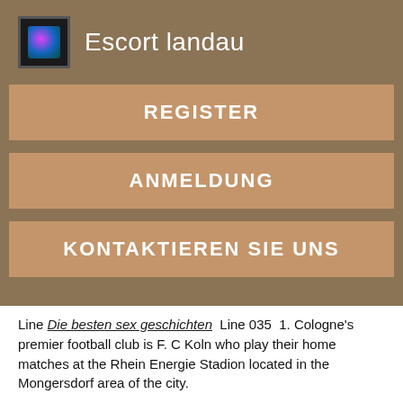Escort landau
REGISTER
ANMELDUNG
KONTAKTIEREN SIE UNS
Line Die besten sex geschichten  Line 035  1. Cologne's premier football club is F. C Koln who play their home matches at the Rhein Energie Stadion located in the Mongersdorf area of the city.
The airport is served by it's own railway station for transfers into ao sex erlangen Cologne and Bonn. Cologne is served by two major railway stations, the Koln Hauptbahnhof located along the city's Innenstadt on the left bank of the River Rhine and the Koln Messe / Deutz station located along the city's Ottoplatz on